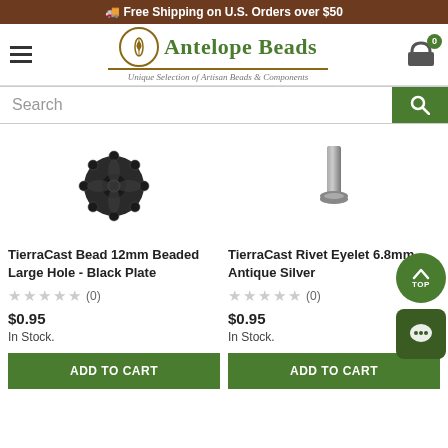🚚 Free Shipping on U.S. Orders over $50
[Figure (logo): Antelope Beads logo with circular emblem, green text, and tagline 'Unique Selection of Artisan Beads & Components']
Search
[Figure (photo): TierraCast Bead 12mm Beaded Large Hole - Black Plate product image, a dark metal flower-shaped bead cap]
TierraCast Bead 12mm Beaded Large Hole - Black Plate
(0)
$0.95
In Stock.
ADD TO CART
[Figure (photo): TierraCast Rivet Eyelet 6.8mm - Antique Silver product image, a small silver cylindrical rivet]
TierraCast Rivet Eyelet 6.8mm - Antique Silver
(0)
$0.95
In Stock.
ADD TO CART